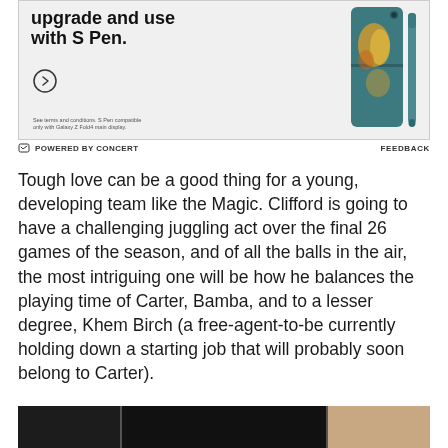[Figure (other): Advertisement banner for Samsung Galaxy Z Fold4 with S Pen. Shows partial bold text 'upgrade and use with S Pen.' with a circle arrow button, fine print about terms and conditions, and an image of the teal/dark green Samsung Galaxy Z Fold4 phone with S Pen on the right side.]
POWERED BY CONCERT
FEEDBACK
Tough love can be a good thing for a young, developing team like the Magic. Clifford is going to have a challenging juggling act over the final 26 games of the season, and of all the balls in the air, the most intriguing one will be how he balances the playing time of Carter, Bamba, and to a lesser degree, Khem Birch (a free-agent-to-be currently holding down a starting job that will probably soon belong to Carter).
[Figure (photo): Partial view of a dark room with computer monitors or screens, barely visible at the bottom of the page.]